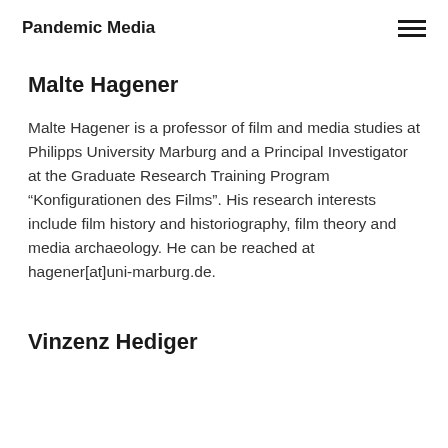Pandemic Media
Malte Hagener
Malte Hagener is a professor of film and media studies at Philipps University Marburg and a Principal Investigator at the Graduate Research Training Program “Konfigurationen des Films”. His research interests include film history and historiography, film theory and media archaeology. He can be reached at hagener[at]uni-marburg.de.
Vinzenz Hediger